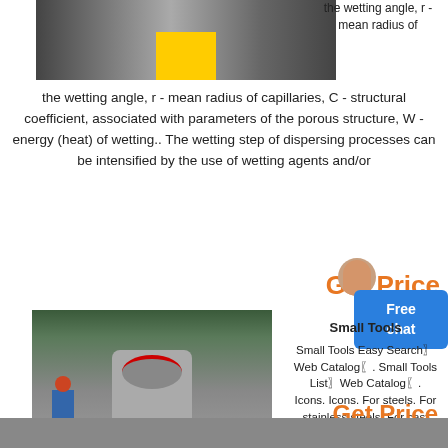[Figure (photo): Industrial machine/equipment interior view, manufacturing facility]
the wetting angle, r - mean radius of capillaries, C - structural coefficient, associated with parameters of the porous structure, W - energy (heat) of wetting.. The wetting step of dispersing processes can be intensified by the use of wetting agents and/or
Get Price
Free chat
[Figure (photo): Large industrial cone crusher with worker in red hard hat standing nearby in factory]
Small Tools
Small Tools Easy Search〗Web Catalog〖. Small Tools List〗Web Catalog〖. Icons. Icons. For steels. For stainless steels. For cast iron. For non-ferrous metal. For difficult to cut material.
Get Price